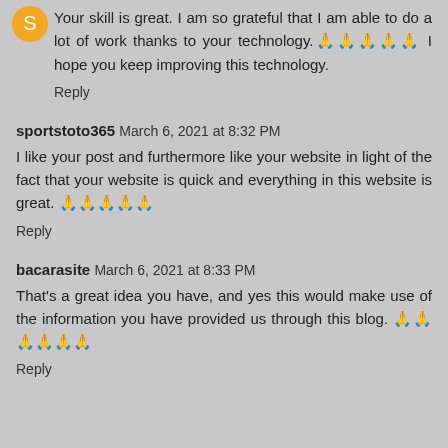Your skill is great. I am so grateful that I am able to do a lot of work thanks to your technology.🙏🙏🙏🙏🙏 I hope you keep improving this technology.
Reply
sportstoto365   March 6, 2021 at 8:32 PM
I like your post and furthermore like your website in light of the fact that your website is quick and everything in this website is great. 🙏🙏🙏🙏🙏
Reply
bacarasite   March 6, 2021 at 8:33 PM
That's a great idea you have, and yes this would make use of the information you have provided us through this blog. 🙏🙏🙏🙏🙏🙏
Reply